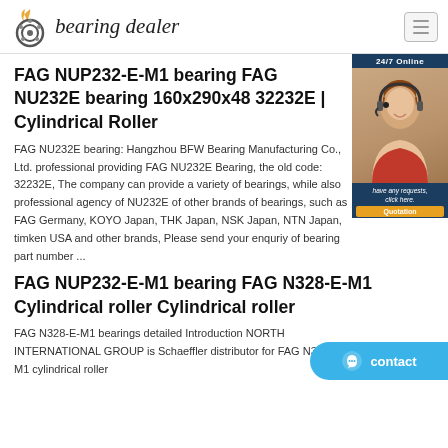bearing dealer
FAG NUP232-E-M1 bearing FAG NU232E bearing 160x290x48 32232E | Cylindrical Roller
FAG NU232E bearing: Hangzhou BFW Bearing Manufacturing Co., Ltd. professional providing FAG NU232E Bearing, the old code: 32232E, The company can provide a variety of bearings, while also professional agency of NU232E of other brands of bearings, such as FAG Germany, KOYO Japan, THK Japan, NSK Japan, NTN Japan, timken USA and other brands, Please send your enquriy of bearing part number ...
FAG NUP232-E-M1 bearing FAG N328-E-M1 Cylindrical roller Cylindrical roller
FAG N328-E-M1 bearings detailed Introduction NORTH INTERNATIONAL GROUP is Schaeffler distributor for FAG N328-E-M1 cylindrical roller